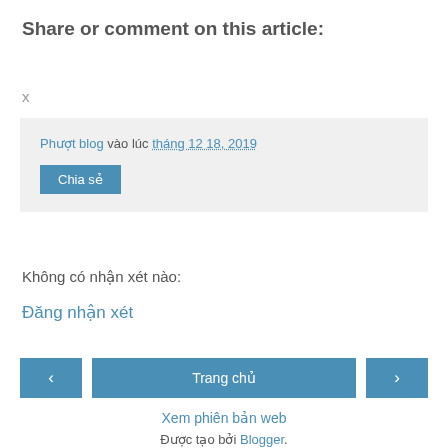Share or comment on this article:
x
Phượt blog vào lúc tháng 12 18, 2019
Chia sẻ
Không có nhận xét nào:
Đăng nhận xét
‹
Trang chủ
›
Xem phiên bản web
Được tạo bởi Blogger.